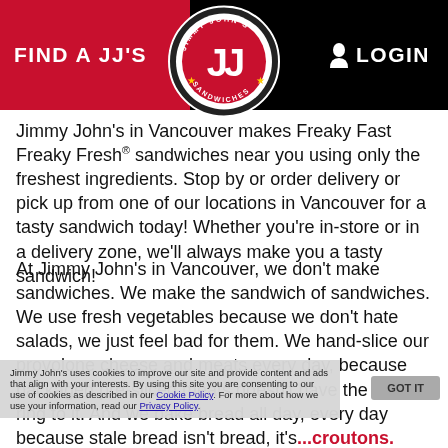FIND A JJ'S   [Jimmy John's Logo]   LOGIN
Jimmy John's in Vancouver makes Freaky Fast Freaky Fresh® sandwiches near you using only the freshest ingredients. Stop by or order delivery or pick up from one of our locations in Vancouver for a tasty sandwich today! Whether you're in-store or in a delivery zone, we'll always make you a tasty sandwich!
At Jimmy John's in Vancouver, we don't make sandwiches. We make the sandwich of sandwiches. We use fresh vegetables because we don't hate salads, we just feel bad for them. We hand-slice our provolone cheese and meats every day, because packaged pre-sliced meats doesn't have the same ring to it. And we bake bread all day, every day because stale bread isn't bread, it's...croutons. Order pickup or delivery at your local Vancouver Jimmy John's to try the Sandwich of Sandwiches(SM) now!
Jimmy John's uses cookies to improve our site and provide content and ads that align with your interests. By using this site you are consenting to our use of cookies as described in our Cookie Policy. For more about how we use your information, read our Privacy Policy.
GOT IT